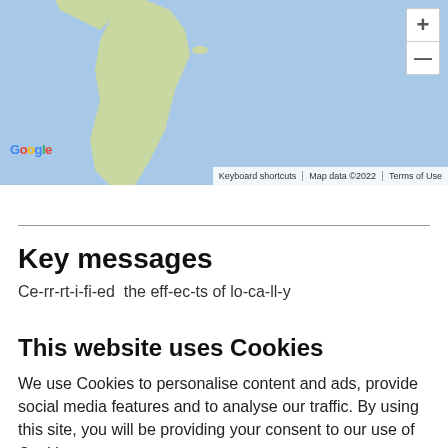[Figure (map): Google Maps screenshot showing a world map with blue ocean and green/tan land masses (South America visible), with zoom controls (+/-) in the top right, Google logo bottom left, and a footer bar with 'Keyboard shortcuts | Map data ©2022 | Terms of Use']
Key messages
Ce-rr-rt-i-fi-ed the eff-ec-ts of lo-ca-ll-y...
This website uses Cookies
We use Cookies to personalise content and ads, provide social media features and to analyse our traffic. By using this site, you will be providing your consent to our use of Cookies.
Accept & continue